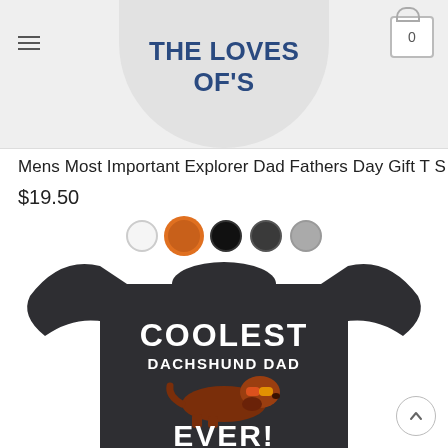THE LOVES OF'S
Mens Most Important Explorer Dad Fathers Day Gift T S
$19.50
[Figure (photo): Product color swatches: white, orange (selected), black, dark gray, gray]
[Figure (photo): Dark charcoal t-shirt with text 'COOLEST DACHSHUND DAD EVER!' and illustration of a dachshund dog wearing sunglasses]